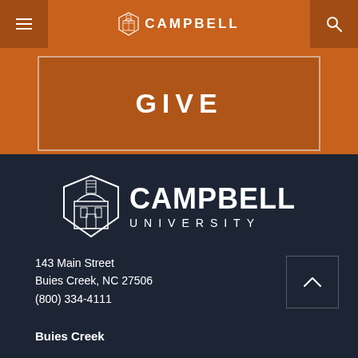CAMPBELL
[Figure (logo): Campbell University shield logo in nav bar]
GIVE
[Figure (logo): Large Campbell University shield logo with text CAMPBELL UNIVERSITY in white on dark navy background]
143 Main Street
Buies Creek, NC 27506
(800) 334-4111
Buies Creek